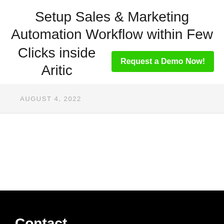Setup Sales & Marketing Automation Workflow within Few Clicks inside Aritic
Request a Demo Now!
AUGUST 4, 2022
Contact